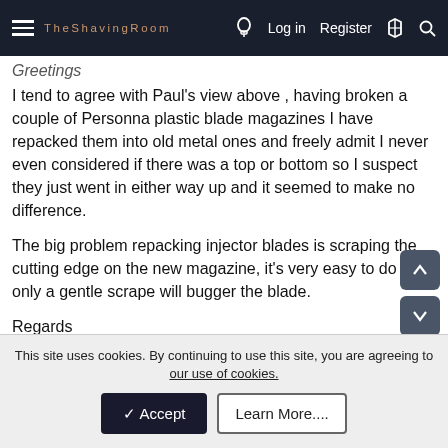The Shaving Room – Log in Register
Greetings
I tend to agree with Paul's view above , having broken a couple of Personna plastic blade magazines I have repacked them into old metal ones and freely admit I never even considered if there was a top or bottom so I suspect they just went in either way up and it seemed to make no difference.

The big problem repacking injector blades is scraping the cutting edge on the new magazine, it's very easy to do and only a gentle scrape will bugger the blade.

Regards
Dick.
Karl G and riverrun
This site uses cookies. By continuing to use this site, you are agreeing to our use of cookies.